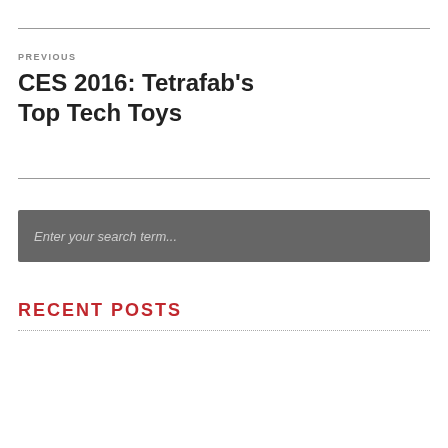PREVIOUS
CES 2016: Tetrafab's Top Tech Toys
Enter your search term...
RECENT POSTS